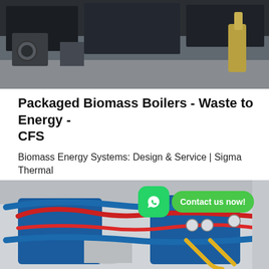[Figure (photo): Industrial biomass boiler equipment in a facility — dark metal ducting and machinery visible]
Packaged Biomass Boilers - Waste to Energy - CFS
Biomass Energy Systems: Design & Service | Sigma Thermal
[Figure (other): Get Price button — rounded cyan/teal button]
[Figure (photo): Industrial biomass boiler room with blue and red pipes, yellow gas lines, gauges, and boiler vessels. WhatsApp icon with 'Contact us now!' label overlaid.]